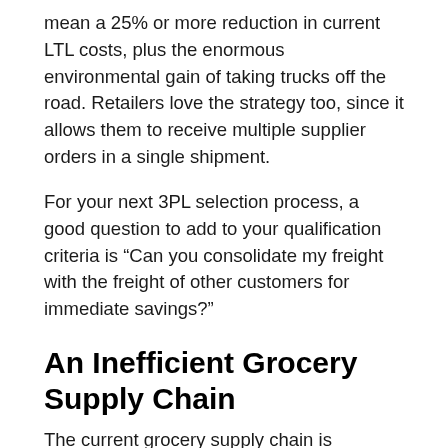mean a 25% or more reduction in current LTL costs, plus the enormous environmental gain of taking trucks off the road. Retailers love the strategy too, since it allows them to receive multiple supplier orders in a single shipment.
For your next 3PL selection process, a good question to add to your qualification criteria is “Can you consolidate my freight with the freight of other customers for immediate savings?”
An Inefficient Grocery Supply Chain
The current grocery supply chain is inefficient because there are tens of thousands of parallel lines of supply to the same retailers. We need to figure out